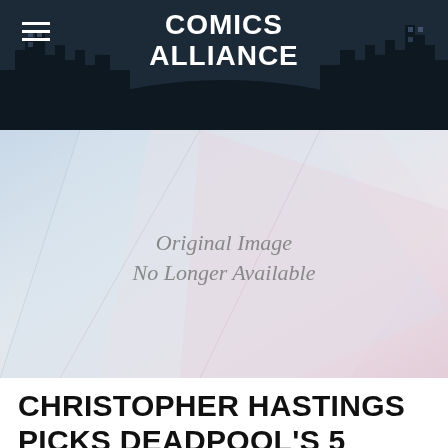COMICS ALLIANCE
[Figure (photo): Placeholder image with text 'Original Image No Longer Available' on a light blue/purple abstract geometric background]
CHRISTOPHER HASTINGS PICKS DEADPOOL'S 5 MOST AWESOME MOMENTS